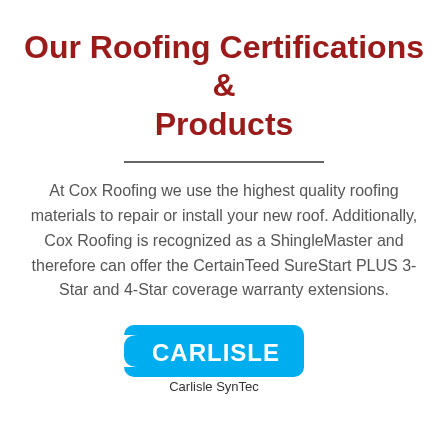Our Roofing Certifications & Products
At Cox Roofing we use the highest quality roofing materials to repair or install your new roof. Additionally, Cox Roofing is recognized as a ShingleMaster and therefore can offer the CertainTeed SureStart PLUS 3-Star and 4-Star coverage warranty extensions.
[Figure (logo): Carlisle SynTec logo — blue rounded rectangle shape with white CARLISLE text, and 'Carlisle SynTec' caption below]